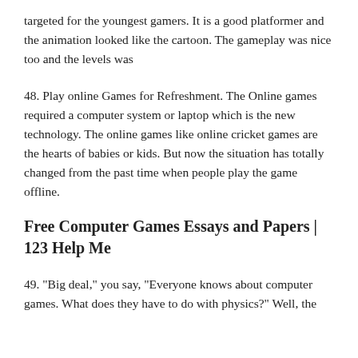targeted for the youngest gamers. It is a good platformer and the animation looked like the cartoon. The gameplay was nice too and the levels was
48. Play online Games for Refreshment. The Online games required a computer system or laptop which is the new technology. The online games like online cricket games are the hearts of babies or kids. But now the situation has totally changed from the past time when people play the game offline.
Free Computer Games Essays and Papers | 123 Help Me
49. "Big deal," you say, "Everyone knows about computer games. What does they have to do with physics?" Well, the